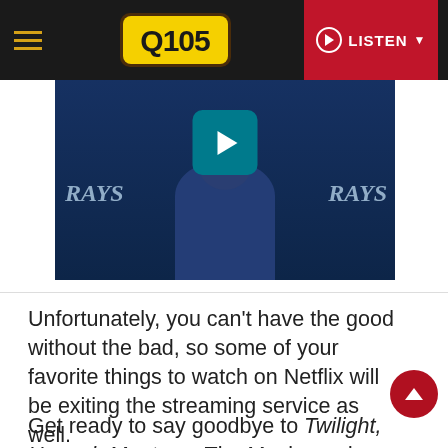Q105 — LISTEN
[Figure (screenshot): Video thumbnail showing a Tampa Bay Rays baseball figure at a press conference with a teal play button overlay. 'RAYS' text visible on backdrop on both sides.]
Unfortunately, you can't have the good without the bad, so some of your favorite things to watch on Netflix will be exiting the streaming service as well.
Get ready to say goodbye to Twilight, Hannah Montana: The Movie, and seasons one through nine of How I Met Your Mother, just to name